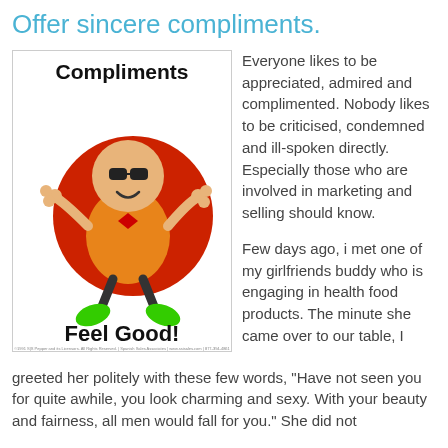Offer sincere compliments.
[Figure (illustration): Cartoon illustration of a happy bald character with sunglasses, bow tie, and green shoes posed against a red circle, with text 'Compliments Feel Good!' above and below]
Everyone likes to be appreciated, admired and complimented. Nobody likes to be criticised, condemned and ill-spoken directly. Especially those who are involved in marketing and selling should know.

Few days ago, i met one of my girlfriends buddy who is engaging in health food products. The minute she came over to our table, I greeted her politely with these few words, "Have not seen you for quite awhile, you look charming and sexy. With your beauty and fairness, all men would fall for you." She did not